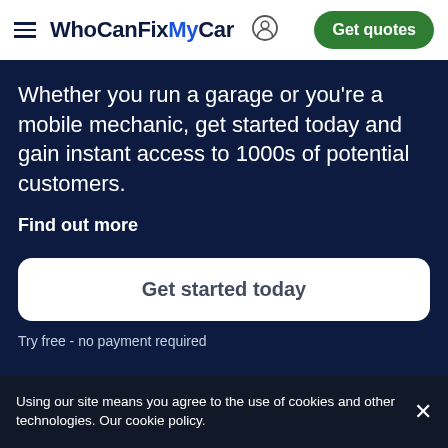WhoCanFixMyCar — Get quotes
Whether you run a garage or you're a mobile mechanic, get started today and gain instant access to 1000s of potential customers.
Find out more
Get started today
Try free - no payment required
Using our site means you agree to the use of cookies and other technologies. Our cookie policy.